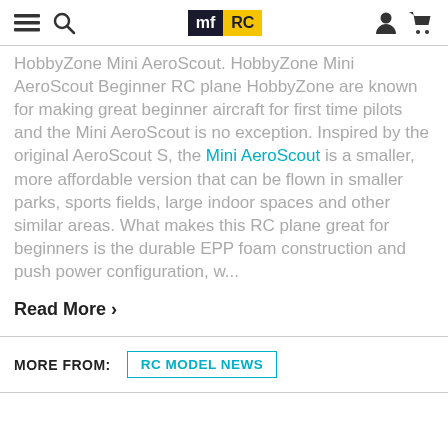mf RC [navigation header with hamburger menu, search, user, and cart icons]
HobbyZone Mini AeroScout. HobbyZone Mini AeroScout Beginner RC plane HobbyZone are known for making great beginner aircraft for first time pilots and the Mini AeroScout is no exception. Inspired by the original AeroScout S, the Mini AeroScout is a smaller, more affordable version that can be flown in smaller parks, sports fields, large indoor spaces and other similar areas. What makes this RC plane great for beginners is the durable EPP foam construction and push power configuration, w...
Read More >
MORE FROM:  RC MODEL NEWS